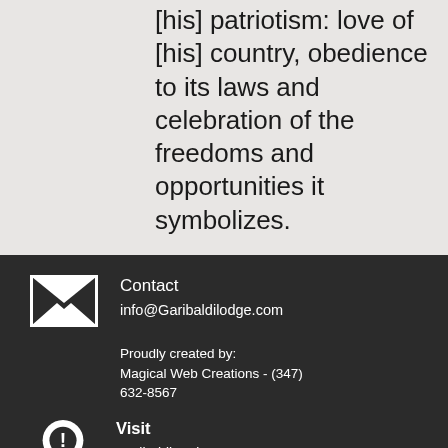[his] patriotism: love of [his] country, obedience to its laws and celebration of the freedoms and opportunities it symbolizes.
Contact
info@Garibaldilodge.com
Proudly created by:
Magical Web Creations - (347) 632-8567
Visit
Garibaldi Lodge No.542
Masonic Hall
71 West 23rd Street
PO Box A7
New York, NY 10010
© 2016 by Garibaldi Lodge No.542 F&A.M.
[Figure (illustration): White envelope icon on dark background]
[Figure (illustration): White map pin / location icon with exclamation mark on dark background]
[Figure (illustration): White copyright symbol circle icon on dark background]
[Figure (illustration): Blue circular FAB button with three white dots]